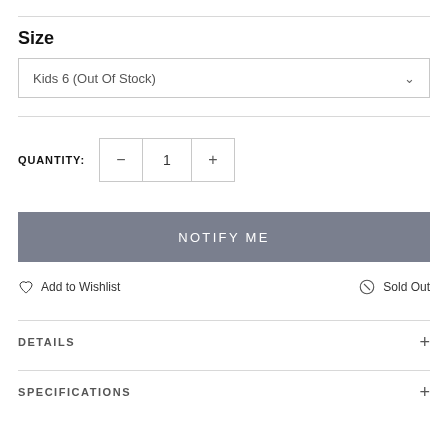Size
Kids 6 (Out Of Stock)
QUANTITY: 1
NOTIFY ME
Add to Wishlist
Sold Out
DETAILS
SPECIFICATIONS